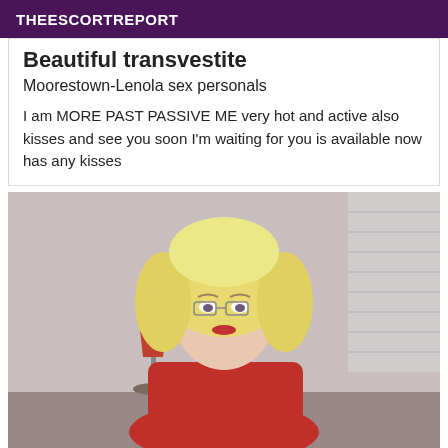THEESCORTREPORT
Beautiful transvestite
Moorestown-Lenola sex personals
I am MORE PAST PASSIVE ME very hot and active also kisses and see you soon I'm waiting for you is available now has any kisses
[Figure (photo): Photo of a person wearing a blonde curly wig, red dress, glasses, and makeup, standing indoors near a lamp and window blinds.]